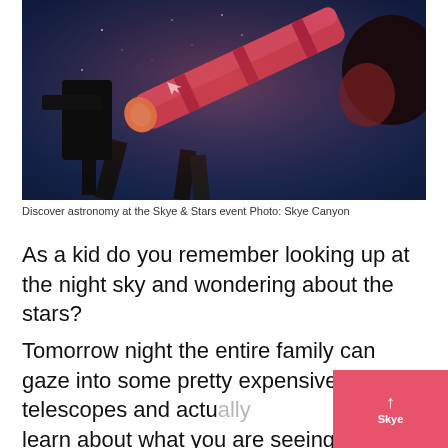[Figure (photo): Person looking through a telescope at night. The telescope is large and red-colored, the background is dark blue night sky. The person's face is illuminated by red light.]
Discover astronomy at the Skye & Stars event Photo: Skye Canyon
As a kid do you remember looking up at the night sky and wondering about the stars?
Tomorrow night the entire family can gaze into some pretty expensive telescopes and actually learn about what you are seeing at the FREE Skye